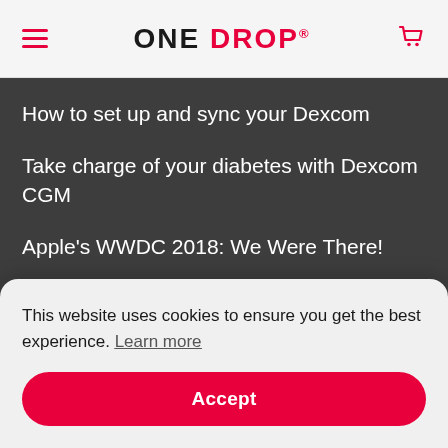ONE DROP
How to set up and sync your Dexcom
Take charge of your diabetes with Dexcom CGM
Apple's WWDC 2018: We Were There!
This website uses cookies to ensure you get the best experience. Learn more
Accept